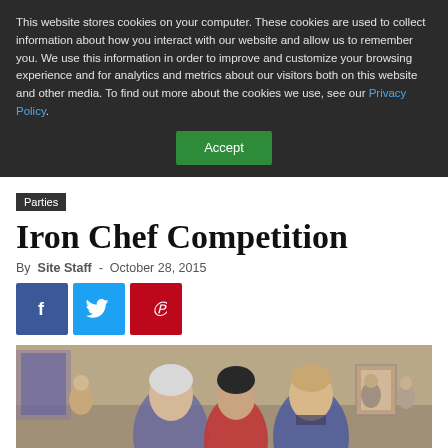This website stores cookies on your computer. These cookies are used to collect information about how you interact with our website and allow us to remember you. We use this information in order to improve and customize your browsing experience and for analytics and metrics about our visitors both on this website and other media. To find out more about the cookies we use, see our Privacy Policy.
Accept
Parties
Iron Chef Competition
By Site Staff - October 28, 2015
[Figure (other): Social media share buttons: Facebook (blue), Twitter (light blue), Pinterest (red)]
[Figure (photo): Group of people at an event, three people in the foreground smiling at camera in what appears to be an indoor venue]